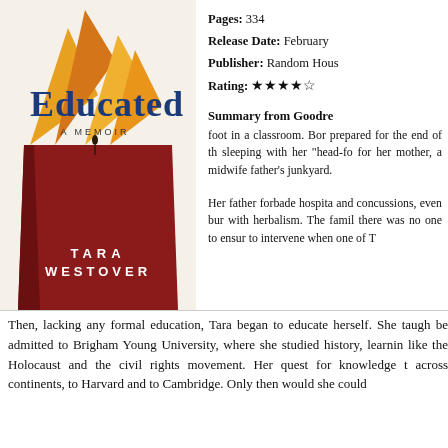[Figure (illustration): Book cover of 'Educated: A Memoir' by Tara Westover. Features a large pencil illustration with mountain-like peaks in orange and yellow at the top, a dark red pencil body below, and a small silhouette of a person standing on the pencil. Title 'Educated' in large blue serif text, subtitle 'A Memoir', author name 'Tara Westover' in white spaced letters at the bottom.]
Pages: 334
Release Date: February
Publisher: Random Hous
Rating: ★★★★☆
Summary from Goodre
foot in a classroom. Bor prepared for the end of th sleeping with her "head-fo for her mother, a midwife father's junkyard.
Her father forbade hospita and concussions, even bur with herbalism. The famil there was no one to ensur to intervene when one of T
Then, lacking any formal education, Tara began to educate herself. She taugh be admitted to Brigham Young University, where she studied history, learnin like the Holocaust and the civil rights movement. Her quest for knowledge t across continents, to Harvard and to Cambridge. Only then would she could